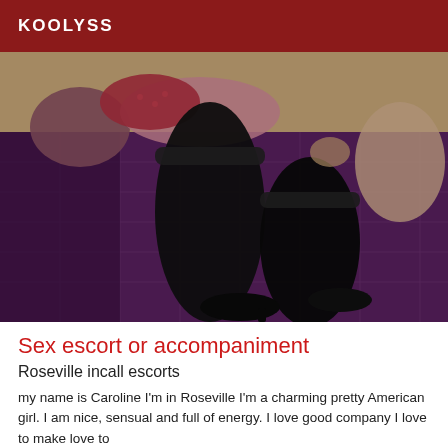KOOLYSS
[Figure (photo): A person lying on a purple quilted bed wearing black stockings and dark shoes, photographed from behind/side angle in a dimly lit room.]
Sex escort or accompaniment
Roseville incall escorts
my name is Caroline I'm in Roseville I'm a charming pretty American girl. I am nice, sensual and full of energy. I love good company I love to make love to